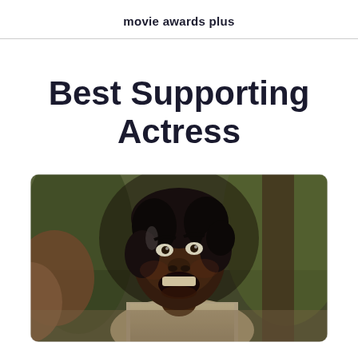movie awards plus
Best Supporting Actress
[Figure (photo): A woman with dark hair in a period costume, mouth open in an emotional expression, in an outdoor setting with blurred trees in the background.]